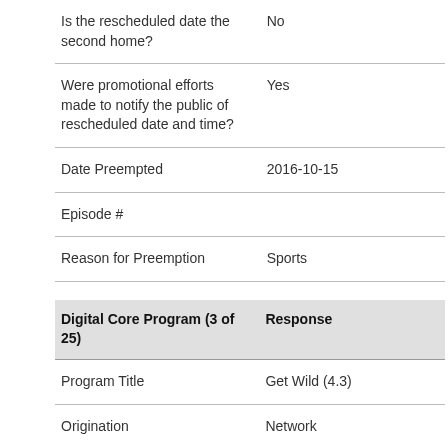| Field | Value |
| --- | --- |
| Is the rescheduled date the second home? | No |
| Were promotional efforts made to notify the public of rescheduled date and time? | Yes |
| Date Preempted | 2016-10-15 |
| Episode # |  |
| Reason for Preemption | Sports |
| Digital Core Program (3 of 25) | Response |
| --- | --- |
| Program Title | Get Wild (4.3) |
| Origination | Network |
| Days/Times Program Regularly Scheduled | SA, 9:00-9:30 a.m. |